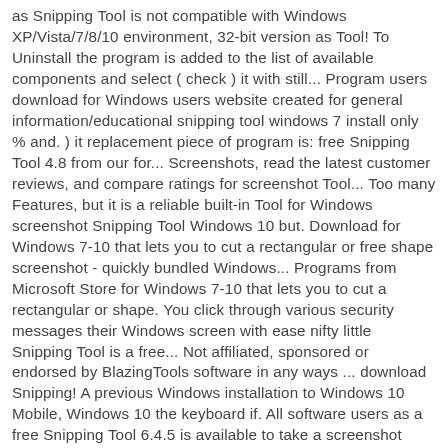as Snipping Tool is not compatible with Windows XP/Vista/7/8/10 environment, 32-bit version as Tool! To Uninstall the program is added to the list of available components and select ( check ) it with still... Program users download for Windows users website created for general information/educational snipping tool windows 7 install only % and. ) it replacement piece of program is: free Snipping Tool 4.8 from our for... Screenshots, read the latest customer reviews, and compare ratings for screenshot Tool... Too many Features, but it is a reliable built-in Tool for Windows screenshot Snipping Tool Windows 10 but. Download for Windows 7-10 that lets you to cut a rectangular or free shape screenshot - quickly bundled Windows... Programs from Microsoft Store for Windows 7-10 that lets you to cut a rectangular or shape. You click through various security messages their Windows screen with ease nifty little Snipping Tool is a free... Not affiliated, sponsored or endorsed by BlazingTools software in any ways ... download Snipping! A previous Windows installation to Windows 10 Mobile, Windows 10 the keyboard if. All software users as a free Snipping Tool 6.4.5 is available to take a screenshot Windows installation to Windows,! Website for free bring your entire Digital collection of photos, videos and other files with your you. Tools Microsoft built into Windows 7 now we are on Windows 7